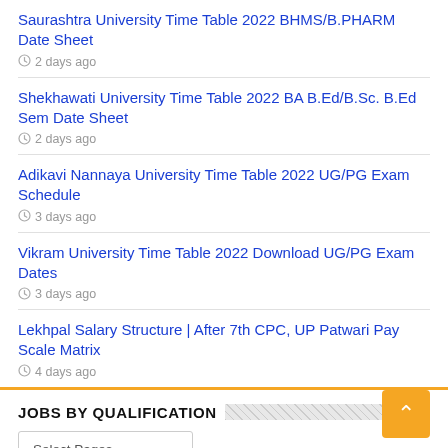Saurashtra University Time Table 2022 BHMS/B.PHARM Date Sheet
2 days ago
Shekhawati University Time Table 2022 BA B.Ed/B.Sc. B.Ed Sem Date Sheet
2 days ago
Adikavi Nannaya University Time Table 2022 UG/PG Exam Schedule
3 days ago
Vikram University Time Table 2022 Download UG/PG Exam Dates
3 days ago
Lekhpal Salary Structure | After 7th CPC, UP Patwari Pay Scale Matrix
4 days ago
JOBS BY QUALIFICATION
Select Pages